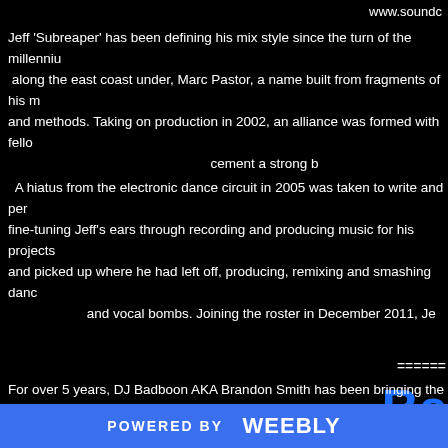www.soundc
Jeff 'Subreaper' has been defining his mix style since the turn of the millennium along the east coast under, Marc Pastor, a name built from fragments of his methods. Taking on production in 2002, an alliance was formed with fellow cement a strong b
A hiatus from the electronic dance circuit in 2005 was taken to write and perf fine-tuning Jeff's ears through recording and producing music for his projects and picked up where he had left off, producing, remixing and smashing danc and vocal bombs. Joining the roster in December 2011, Je
======
Ba
(413DNB | Operation Bre
www.
soundclo
For over 5 years, DJ Badboon AKA Brandon Smith has been bringing the b stereos across the pioneer valley and beyond. Playing strictly vinyl, he is kno
POWERED BY weebly